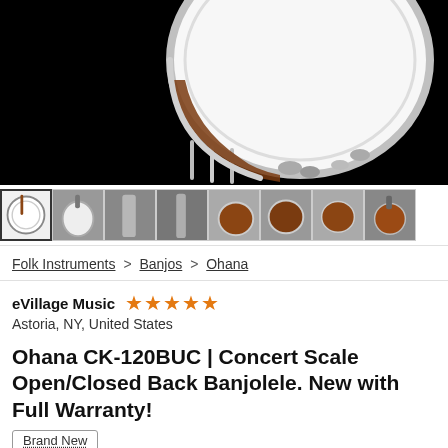[Figure (photo): Close-up photo of a banjolele on black background, showing chrome hardware details and dark wood rim, viewed from an angle.]
[Figure (photo): Row of 8 small thumbnail images of the banjolele from various angles.]
Folk Instruments > Banjos > Ohana
eVillage Music ★★★★★
Astoria, NY, United States
Ohana CK-120BUC | Concert Scale Open/Closed Back Banjolele. New with Full Warranty!
Brand New
$249
Free Shipping